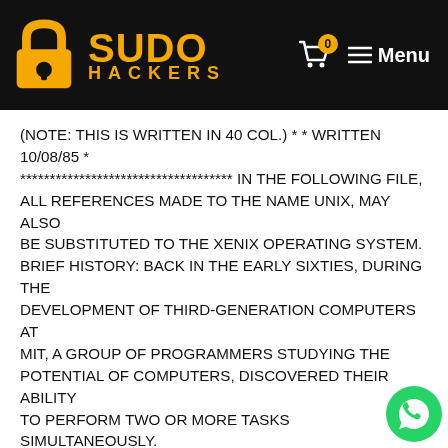SUDO HACKERS
(NOTE: THIS IS WRITTEN IN 40 COL.) * * WRITTEN 10/08/85 * ************************************ IN THE FOLLOWING FILE, ALL REFERENCES MADE TO THE NAME UNIX, MAY ALSO BE SUBSTITUTED TO THE XENIX OPERATING SYSTEM. BRIEF HISTORY: BACK IN THE EARLY SIXTIES, DURING THE DEVELOPMENT OF THIRD-GENERATION COMPUTERS AT MIT, A GROUP OF PROGRAMMERS STUDYING THE POTENTIAL OF COMPUTERS, DISCOVERED THEIR ABILITY TO PERFORM TWO OR MORE TASKS SIMULTANEOUSLY.
BELL LABS, TAKING NOTICE OF THIS DISCOVERY, PROVIDED FUNDS FOR THEIR DEVELOPMENTAL SCIENTISTS TO INVESTIGATE INTO THIS NEW FRONTIER. AFTER ABOUT 2 YEARS OF DEVELOPMENTAL RESEARCH,